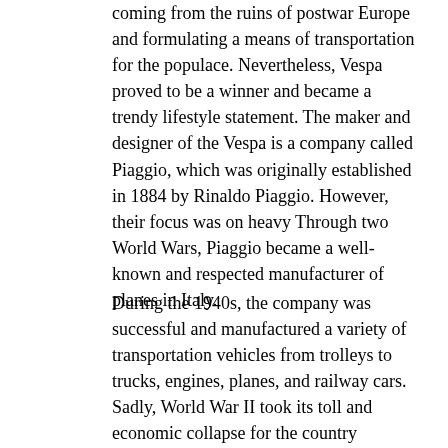coming from the ruins of postwar Europe and formulating a means of transportation for the populace. Nevertheless, Vespa proved to be a winner and became a trendy lifestyle statement. The maker and designer of the Vespa is a company called Piaggio, which was originally established in 1884 by Rinaldo Piaggio. However, their focus was on heavy Through two World Wars, Piaggio became a well-known and respected manufacturer of planes in Italy.
During the 1940s, the company was successful and manufactured a variety of transportation vehicles from trolleys to trucks, engines, planes, and railway cars. Sadly, World War II took its toll and economic collapse for the country shattered the main factory in Pontedera.